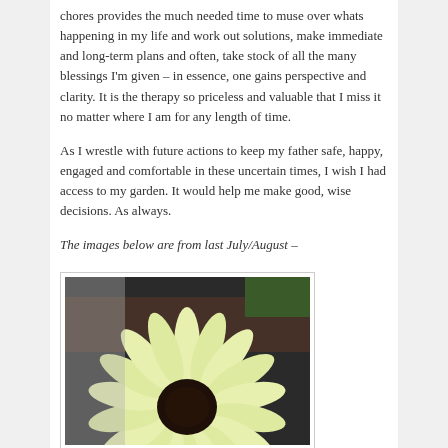chores provides the much needed time to muse over whats happening in my life and work out solutions, make immediate and long-term plans and often, take stock of all the many blessings I'm given – in essence, one gains perspective and clarity. It is the therapy so priceless and valuable that I miss it no matter where I am for any length of time.
As I wrestle with future actions to keep my father safe, happy, engaged and comfortable in these uncertain times, I wish I had access to my garden. It would help me make good, wise decisions. As always.
The images below are from last July/August –
[Figure (photo): A close-up photograph of a pale yellow sunflower viewed from above against a dark background, with green foliage visible. The flower fills most of the frame.]